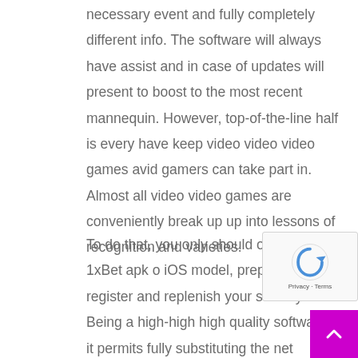necessary event and fully completely different info. The software will always have assist and in case of updates will present to boost to the most recent mannequin. However, top-of-the-line half is every have keep video video video games avid gamers can take part in. Almost all video video games are conveniently break up up into lessons of recognition and varieties.
To do that, you only should obtain the 1xBet apk or iOS model, prepare it, register and replenish your stability. Being a high-high high quality software, it permits fully substituting the net betting platform. The software program is constructed to offer you entry to a extensive selection of betting markets in a couple